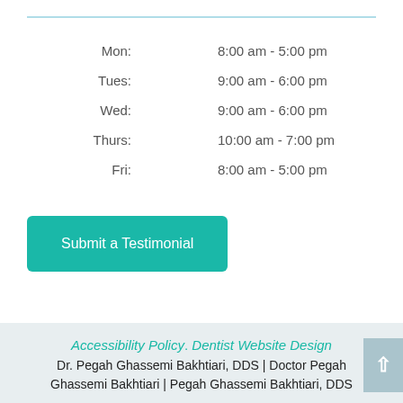| Day | Hours |
| --- | --- |
| Mon: | 8:00 am - 5:00 pm |
| Tues: | 9:00 am - 6:00 pm |
| Wed: | 9:00 am - 6:00 pm |
| Thurs: | 10:00 am - 7:00 pm |
| Fri: | 8:00 am - 5:00 pm |
Submit a Testimonial
Accessibility Policy. Dentist Website Design
Dr. Pegah Ghassemi Bakhtiari, DDS | Doctor Pegah Ghassemi Bakhtiari | Pegah Ghassemi Bakhtiari, DDS